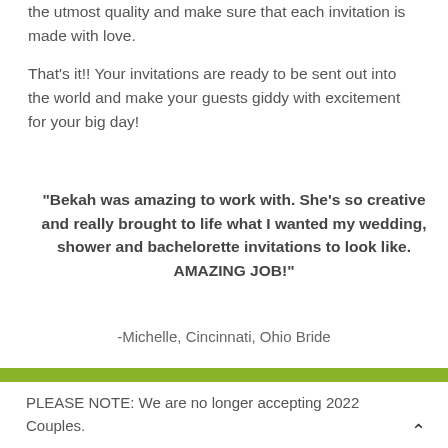the utmost quality and make sure that each invitation is made with love.
That's it!! Your invitations are ready to be sent out into the world and make your guests giddy with excitement for your big day!
“Bekah was amazing to work with. She’s so creative and really brought to life what I wanted my wedding, shower and bachelorette invitations to look like. AMAZING JOB!”
-Michelle, Cincinnati, Ohio Bride
PLEASE NOTE: We are no longer accepting 2022 Couples.